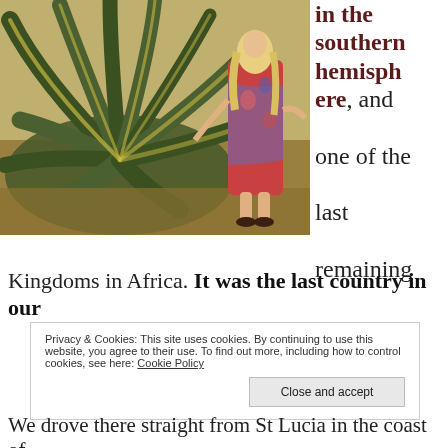[Figure (photo): A woman in a colorful red and blue floral dress standing next to a large agave/aloe plant in an outdoor grassy setting. The photo is warm-toned.]
in the southern hemisphere, and one of the last remaining Kingdoms in Africa. It was the last country in our
Privacy & Cookies: This site uses cookies. By continuing to use this website, you agree to their use. To find out more, including how to control cookies, see here: Cookie Policy
Close and accept
We drove there straight from St Lucia in the coast of